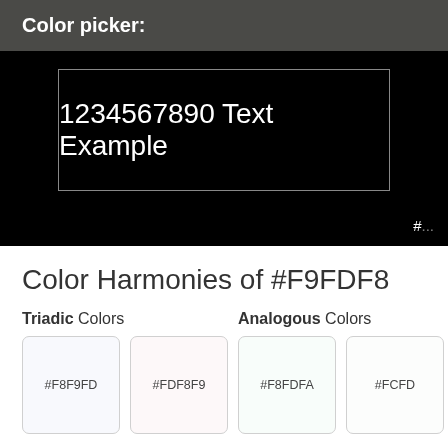Color picker:
[Figure (screenshot): Black preview area showing '1234567890 Text Example' in white text inside a bordered rectangle, with a partial hex label at bottom right]
Color Harmonies of #F9FDF8
Triadic Colors
[Figure (infographic): Two color swatches: #F8F9FD (very light blue-gray) and #FDF8F9 (very light pink)]
Analogous Colors
[Figure (infographic): Two color swatches: #F8FDFA (very light green-white) and #FCFD... (partially visible light swatch)]
Monochromatic Colors of #F9FDF8